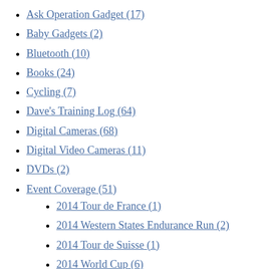Ask Operation Gadget (17)
Baby Gadgets (2)
Bluetooth (10)
Books (24)
Cycling (7)
Dave's Training Log (64)
Digital Cameras (68)
Digital Video Cameras (11)
DVDs (2)
Event Coverage (51)
2014 Tour de France (1)
2014 Western States Endurance Run (2)
2014 Tour de Suisse (1)
2014 World Cup (6)
2013 Tour de France (2)
2009 Tour de France (6)
2007 Tour de France (5)
2006 Tour de France (15)